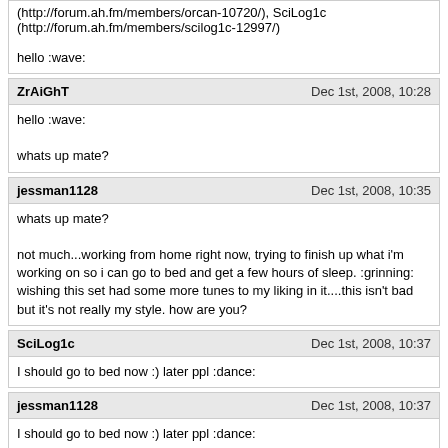(http://forum.ah.fm/members/orcan-10720/), SciLog1c (http://forum.ah.fm/members/scilog1c-12997/)

hello :wave:
ZrAiGhT
Dec 1st, 2008, 10:28
hello :wave:

whats up mate?
jessman1128
Dec 1st, 2008, 10:35
whats up mate?

not much...working from home right now, trying to finish up what i'm working on so i can go to bed and get a few hours of sleep. :grinning: wishing this set had some more tunes to my liking in it....this isn't bad but it's not really my style. how are you?
SciLog1c
Dec 1st, 2008, 10:37
I should go to bed now :) later ppl :dance:
jessman1128
Dec 1st, 2008, 10:37
I should go to bed now :) later ppl :dance:

g'night! :wave:
ZrAiGhT
Dec 1st, 2008, 10:45
not much.. working from home right now, trying to finish up what i'm working on